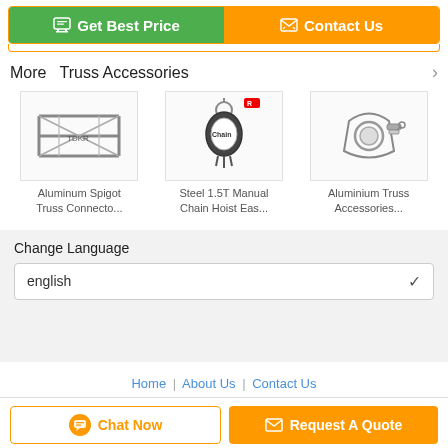[Figure (screenshot): Get Best Price and Contact Us buttons at top]
More  Truss Accessories
[Figure (photo): Aluminum Spigot Truss Connector product thumbnail]
Aluminum Spigot Truss Connecto...
[Figure (photo): Steel 1.5T Manual Chain Hoist product thumbnail]
Steel 1.5T Manual Chain Hoist Eas...
[Figure (photo): Aluminium Truss Accessories product thumbnail]
Aluminium Truss Accessories...
Change Language
english
Home | About Us | Contact Us
Chat Now
Request A Quote